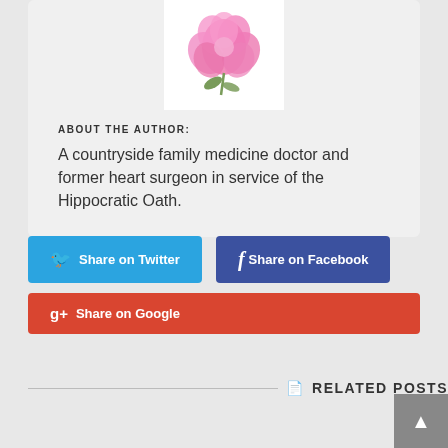[Figure (illustration): A pink peony flower illustration on a white card background]
ABOUT THE AUTHOR:
A countryside family medicine doctor and former heart surgeon in service of the Hippocratic Oath.
[Figure (infographic): Share on Twitter button (blue)]
[Figure (infographic): Share on Facebook button (dark blue)]
[Figure (infographic): Share on Google button (red)]
RELATED POSTS